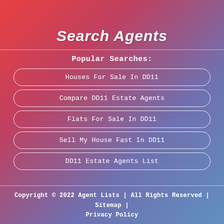Search Agents
Popular Searches:
Houses For Sale In DD11
Compare DD11 Estate Agents
Flats For Sale In DD11
Sell My House Fast In DD11
DD11 Estate Agents List
Copyright © 2022 Agent Lists | All Rights Reserved | Sitemap | Privacy Policy